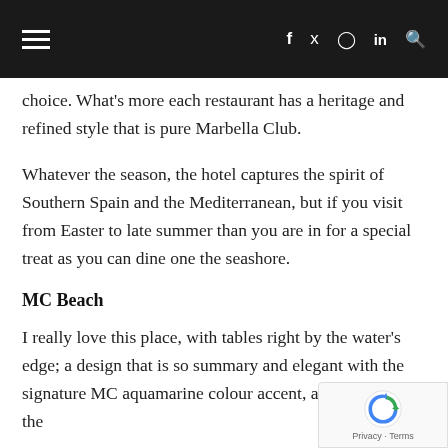☰  f  🐦  ⊙  in  🔍
choice. What's more each restaurant has a heritage and refined style that is pure Marbella Club.
Whatever the season, the hotel captures the spirit of Southern Spain and the Mediterranean, but if you visit from Easter to late summer than you are in for a special treat as you can dine one the seashore.
MC Beach
I really love this place, with tables right by the water's edge; a design that is so summary and elegant with the signature MC aquamarine colour accent, and of course the